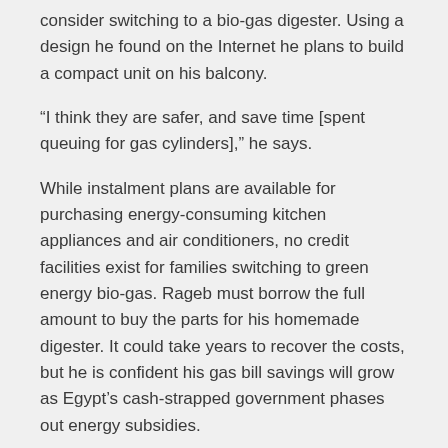consider switching to a bio-gas digester. Using a design he found on the Internet he plans to build a compact unit on his balcony.
“I think they are safer, and save time [spent queuing for gas cylinders],” he says.
While instalment plans are available for purchasing energy-consuming kitchen appliances and air conditioners, no credit facilities exist for families switching to green energy bio-gas. Rageb must borrow the full amount to buy the parts for his homemade digester. It could take years to recover the costs, but he is confident his gas bill savings will grow as Egypt’s cash-strapped government phases out energy subsidies.
“Without subsidies, a gas cylinder would cost about LE 100 (14 dollars) to fill,” he points out.